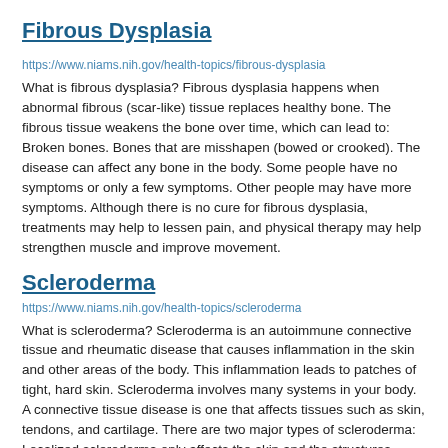Fibrous Dysplasia
https://www.niams.nih.gov/health-topics/fibrous-dysplasia
What is fibrous dysplasia? Fibrous dysplasia happens when abnormal fibrous (scar-like) tissue replaces healthy bone. The fibrous tissue weakens the bone over time, which can lead to: Broken bones. Bones that are misshapen (bowed or crooked). The disease can affect any bone in the body. Some people have no symptoms or only a few symptoms. Other people may have more symptoms. Although there is no cure for fibrous dysplasia, treatments may help to lessen pain, and physical therapy may help strengthen muscle and improve movement.
Scleroderma
https://www.niams.nih.gov/health-topics/scleroderma
What is scleroderma? Scleroderma is an autoimmune connective tissue and rheumatic disease that causes inflammation in the skin and other areas of the body. This inflammation leads to patches of tight, hard skin. Scleroderma involves many systems in your body. A connective tissue disease is one that affects tissues such as skin, tendons, and cartilage. There are two major types of scleroderma: Localized scleroderma only affects the skin and the structures directly under the skin. Systemic scleroderma, also called systemic sclerosis, affects many parts of the body.